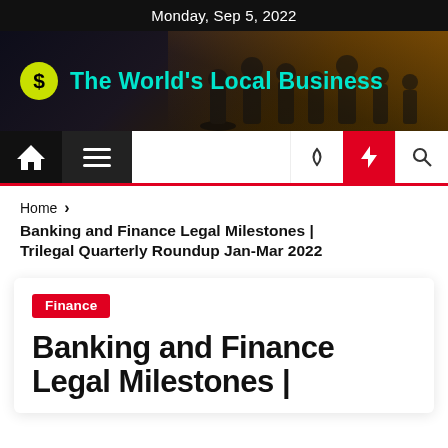Monday, Sep 5, 2022
[Figure (illustration): Dark hero banner with silhouettes of business people in a meeting room, with a golden sunrise/sunset background. Contains a yellow dollar-sign circle icon and cyan text 'The World's Local Business'.]
The World's Local Business
[Figure (screenshot): Navigation bar with home icon, hamburger menu, moon icon, lightning bolt icon (red background), and search icon.]
Home > Banking and Finance Legal Milestones | Trilegal Quarterly Roundup Jan-Mar 2022
Finance
Banking and Finance Legal Milestones |